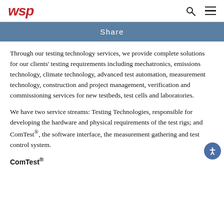wsp
Share
Through our testing technology services, we provide complete solutions for our clients' testing requirements including mechatronics, emissions technology, climate technology, advanced test automation, measurement technology, construction and project management, verification and commissioning services for new testbeds, test cells and laboratories.
We have two service streams: Testing Technologies, responsible for developing the hardware and physical requirements of the test rigs; and ComTest®, the software interface, the measurement gathering and test control system.
ComTest®